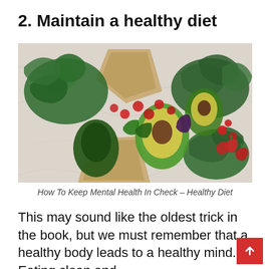2. Maintain a healthy diet
[Figure (photo): Overhead view of fresh vegetables and fruits including kale, avocados, cherry tomatoes, jalapeños, and strawberries arranged on a marble surface with brown paper bags]
How To Keep Mental Health In Check – Healthy Diet
This may sound like the oldest trick in the book, but we must remember that a healthy body leads to a healthy mind. Eating clean and